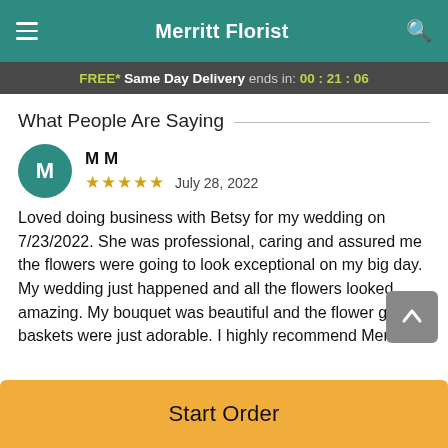Merritt Florist
FREE* Same Day Delivery ends in: 00:21:06
What People Are Saying
M M  ★★★★★  July 28, 2022
Loved doing business with Betsy for my wedding on 7/23/2022. She was professional, caring and assured me the flowers were going to look exceptional on my big day. My wedding just happened and all the flowers looked amazing. My bouquet was beautiful and the flower girls' baskets were just adorable. I highly recommend Merrit
Start Order